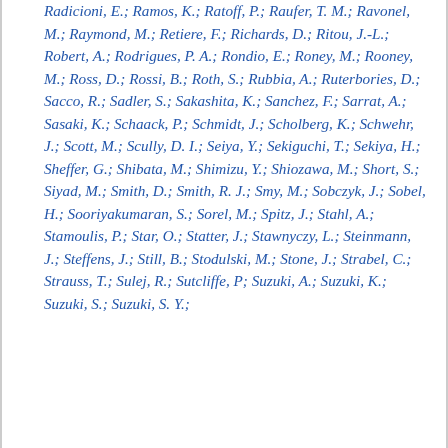Radicioni, E.; Ramos, K.; Ratoff, P.; Raufer, T. M.; Ravonel, M.; Raymond, M.; Retiere, F.; Richards, D.; Ritou, J.-L.; Robert, A.; Rodrigues, P. A.; Rondio, E.; Roney, M.; Rooney, M.; Ross, D.; Rossi, B.; Roth, S.; Rubbia, A.; Ruterbories, D.; Sacco, R.; Sadler, S.; Sakashita, K.; Sanchez, F.; Sarrat, A.; Sasaki, K.; Schaack, P.; Schmidt, J.; Scholberg, K.; Schwehr, J.; Scott, M.; Scully, D. I.; Seiya, Y.; Sekiguchi, T.; Sekiya, H.; Sheffer, G.; Shibata, M.; Shimizu, Y.; Shiozawa, M.; Short, S.; Siyad, M.; Smith, D.; Smith, R. J.; Smy, M.; Sobczyk, J.; Sobel, H.; Sooriyakumaran, S.; Sorel, M.; Spitz, J.; Stahl, A.; Stamoulis, P.; Star, O.; Statter, J.; Stawnyczy, L.; Steinmann, J.; Steffens, J.; Still, B.; Stodulski, M.; Stone, J.; Strabel, C.; Strauss, T.; Sulej, R.; Sutcliffe, P; Suzuki, A.; Suzuki, K.; Suzuki, S.; Suzuki, S. Y.;